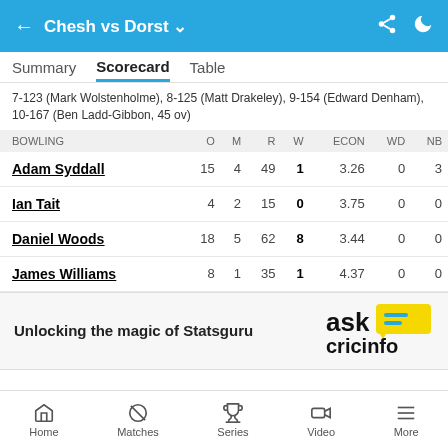Chesh vs Dorst
Summary  Scorecard  Table
7-123 (Mark Wolstenholme), 8-125 (Matt Drakeley), 9-154 (Edward Denham), 10-167 (Ben Ladd-Gibbon, 45 ov)
| BOWLING | O | M | R | W | ECON | WD | NB |
| --- | --- | --- | --- | --- | --- | --- | --- |
| Adam Syddall | 15 | 4 | 49 | 1 | 3.26 | 0 | 3 |
| Ian Tait | 4 | 2 | 15 | 0 | 3.75 | 0 | 0 |
| Daniel Woods | 18 | 5 | 62 | 8 | 3.44 | 0 | 0 |
| James Williams | 8 | 1 | 35 | 1 | 4.37 | 0 | 0 |
Unlocking the magic of Statsguru
Home  Matches  Series  Video  More